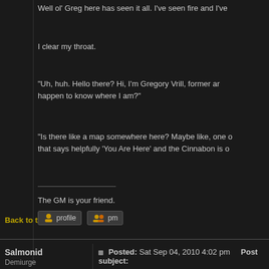Well ol' Greg here has seen it all. I've seen fire and I've
I clear my throat.
"Uh, huh. Hello there? Hi, I'm Gregory Vrill, former ar happen to know where I am?"
"Is there like a map somewhere here? Maybe like, one o that says helpfully 'You Are Here' and the Cinnabon is o
The GM is your friend.
Back to top
Salmonid
Demiurge

Joined: 03 Sep 2010
Posts: 114
Posted: Sat Sep 04, 2010 4:02 pm    Post subject:
"Ach, Ah mest be strai't troattered," says Dutch, rubbin in many a strange place before, head pounding, memor find these circumstances to be at all disturbing.
Dutch climbs down from the judge's seat and examines closely.
Are any of them recognizable, or doing or holding anyt